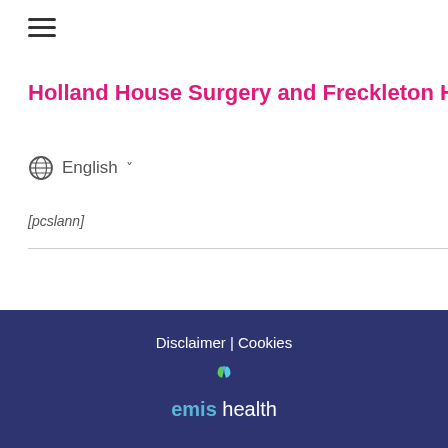[Figure (other): Hamburger menu icon (three horizontal lines)]
Holland House Surgery and Freckleton Health Ce
English (language selector with globe icon and dropdown caret)
[pcslann]
Disclaimer | Cookies
[Figure (logo): EMIS Health logo with green and blue leaf icon above the text 'emis health']